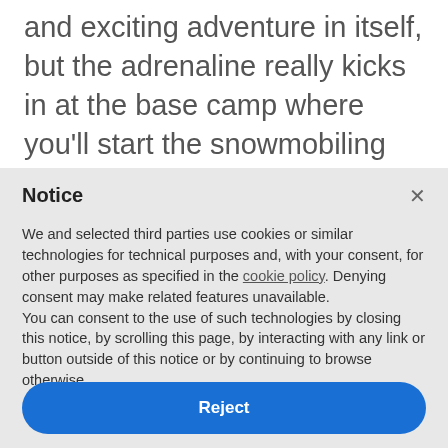and exciting adventure in itself, but the adrenaline really kicks in at the base camp where you'll start the snowmobiling journey. The landscape is stark, stunning, and completely untouched – on a clear day your private guide will take you to a vantage point with amazing
Notice
We and selected third parties use cookies or similar technologies for technical purposes and, with your consent, for other purposes as specified in the cookie policy. Denying consent may make related features unavailable.
You can consent to the use of such technologies by closing this notice, by scrolling this page, by interacting with any link or button outside of this notice or by continuing to browse otherwise.
Reject